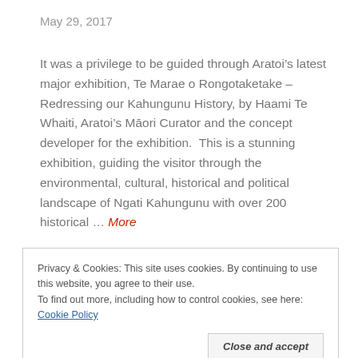May 29, 2017
It was a privilege to be guided through Aratoi’s latest major exhibition, Te Marae o Rongotaketake – Redressing our Kahungunu History, by Haami Te Whaiti, Aratoi’s Māori Curator and the concept developer for the exhibition.  This is a stunning exhibition, guiding the visitor through the environmental, cultural, historical and political landscape of Ngati Kahungunu with over 200 historical … More
Privacy & Cookies: This site uses cookies. By continuing to use this website, you agree to their use.
To find out more, including how to control cookies, see here: Cookie Policy
Close and accept